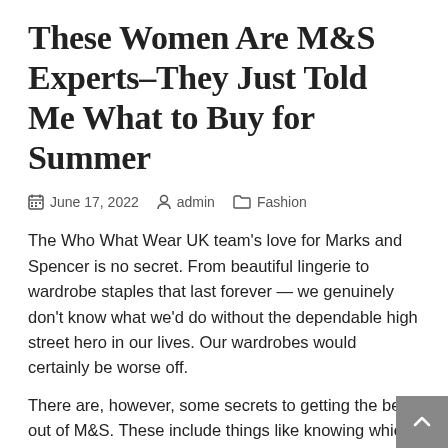These Women Are M&S Experts–They Just Told Me What to Buy for Summer
June 17, 2022   admin   Fashion
The Who What Wear UK team's love for Marks and Spencer is no secret. From beautiful lingerie to wardrobe staples that last forever — we genuinely don't know what we'd do without the dependable high street hero in our lives. Our wardrobes would certainly be worse off.
There are, however, some secrets to getting the best out of M&S. These include things like knowing which of their in-house brands to filter down to (Autograph is usually our fave for expensive-looking items), and which